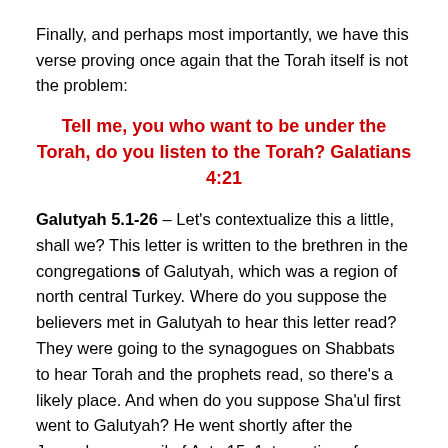Finally, and perhaps most importantly, we have this verse proving once again that the Torah itself is not the problem:
Tell me, you who want to be under the Torah, do you listen to the Torah? Galatians 4:21
Galutyah 5.1-26 – Let's contextualize this a little, shall we? This letter is written to the brethren in the congregations of Galutyah, which was a region of north central Turkey. Where do you suppose the believers met in Galutyah to hear this letter read? They were going to the synagogues on Shabbats to hear Torah and the prophets read, so there's a likely place. And when do you suppose Sha'ul first went to Galutyah? He went shortly after the Jerusalem council of Acts 15, 1st mention of Galatia is in 16.6. Do you suppose he went exactly against the decision of the council so soon after they had found for his